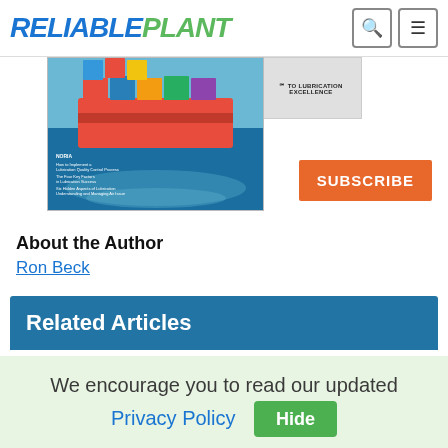RELIABLEPLANT
[Figure (photo): Magazine cover showing a cargo ship at sea with colorful shipping containers, partially overlapping with a lubrication excellence book cover]
SUBSCRIBE
About the Author
Ron Beck
Related Articles
Keeping Plant Workers Safe with Technology
We encourage you to read our updated Privacy Policy  Hide